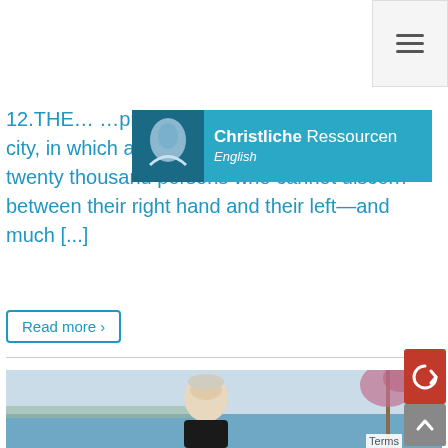Menu (hamburger icon)
[Figure (logo): Christliche Ressourcen English banner overlay with thumbnail image and teal background]
12.THE… …pray | Memory… …Nineveh, that great city, in which are more than one hundred and twenty thousand persons who cannot discern between their right hand and their left—and much [...]
Read more ›
[Figure (photo): Elderly man with white hair and beard, smiling, seated outdoors with a lake/sea and tree in the background]